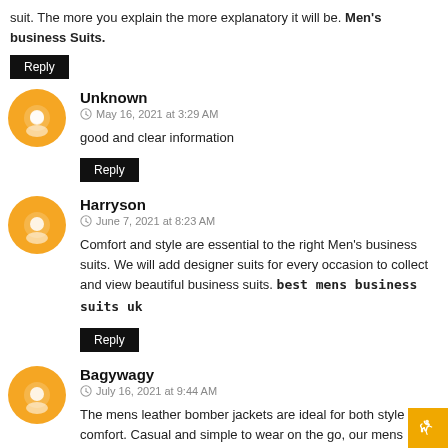suit. The more you explain the more explanatory it will be. Men's business Suits.
Reply
Unknown
May 16, 2021 at 3:29 AM
good and clear information
Reply
Harryson
June 7, 2021 at 8:23 AM
Comfort and style are essential to the right Men's business suits. We will add designer suits for every occasion to collect and view beautiful business suits. best mens business suits uk
Reply
Bagywagy
July 16, 2021 at 9:44 AM
The mens leather bomber jackets are ideal for both style and comfort. Casual and simple to wear on the go, our mens